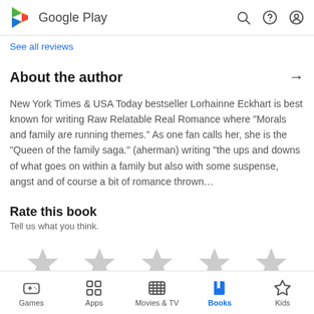Google Play
See all reviews
About the author
New York Times & USA Today bestseller Lorhainne Eckhart is best known for writing Raw Relatable Real Romance where "Morals and family are running themes." As one fan calls her, she is the "Queen of the family saga." (aherman) writing "the ups and downs of what goes on within a family but also with some suspense, angst and of course a bit of romance thrown...
Rate this book
Tell us what you think.
Games  Apps  Movies & TV  Books  Kids